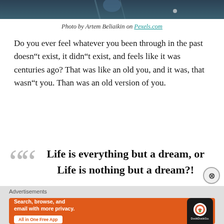[Figure (photo): Top portion of a photo by Artem Beliaikin, showing a dark teal/blue artistic scene, partially cropped at top of page.]
Photo by Artem Beliaikin on Pexels.com
Do you ever feel whatever you been through in the past doesn“t exist, it didn“t exist, and feels like it was centuries ago? That was like an old you, and it was, that wasn“t you. Than was an old version of you.
Life is everything but a dream, or Life is nothing but a dream?!
[Figure (screenshot): DuckDuckGo advertisement banner: 'Search, browse, and email with more privacy. All in One Free App' with DuckDuckGo logo on a phone on orange background.]